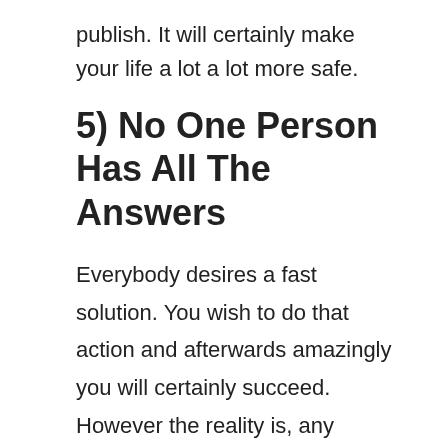publish. It will certainly make your life a lot a lot more safe.
5) No One Person Has All The Answers
Everybody desires a fast solution. You wish to do that action and afterwards amazingly you will certainly succeed. However the reality is, any individual that has actually succeeded recognizes there were years of purchasing one's self prior to success came. Real success, isn't such as the lottery game, where you amazingly have countless bucks decreased in your lap while just paying a number of dollars to obtain it. Genuine